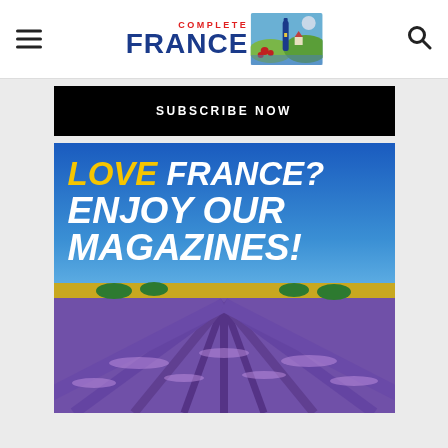[Figure (logo): Complete France magazine logo with text COMPLETE in red and FRANCE in dark blue, alongside an illustrated image of wine bottle, lavender and French countryside]
[Figure (infographic): Subscribe Now banner - black background with white bold uppercase text SUBSCRIBE NOW]
[Figure (infographic): Advertisement banner showing a lavender field in Provence under blue sky with bold text: LOVE (yellow italic) FRANCE? (white italic) ENJOY OUR MAGAZINES! (white italic)]